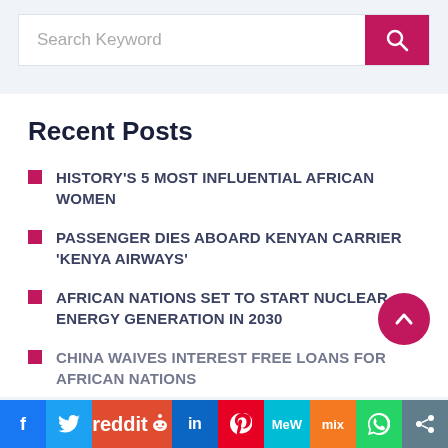[Figure (screenshot): Search bar with placeholder text 'Search Keyword' and a dark pink/crimson search button with magnifying glass icon]
Recent Posts
HISTORY'S 5 MOST INFLUENTIAL AFRICAN WOMEN
PASSENGER DIES ABOARD KENYAN CARRIER 'KENYA AIRWAYS'
AFRICAN NATIONS SET TO START NUCLEAR ENERGY GENERATION IN 2030
CHINA WAIVES INTEREST FREE LOANS FOR AFRICAN NATIONS
[Figure (screenshot): Social media sharing bar at the bottom with icons for Facebook, Twitter, Reddit, LinkedIn, Pinterest, MeWe, Mix, WhatsApp, and Share]